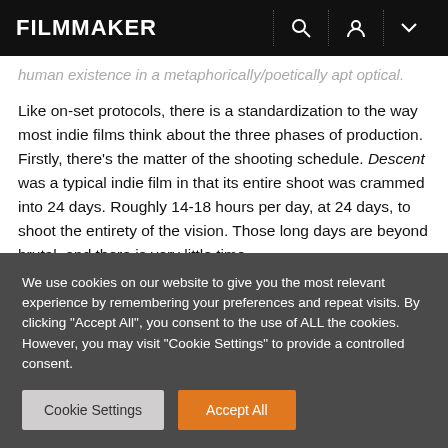FILMMAKER
human existence in a metaphorically/poetically apt optical.
Like on-set protocols, there is a standardization to the way most indie films think about the three phases of production. Firstly, there's the matter of the shooting schedule. Descent was a typical indie film in that its entire shoot was crammed into 24 days. Roughly 14-18 hours per day, at 24 days, to shoot the entirety of the vision. Those long days are beyond brutal, and there is very little time
We use cookies on our website to give you the most relevant experience by remembering your preferences and repeat visits. By clicking "Accept All", you consent to the use of ALL the cookies. However, you may visit "Cookie Settings" to provide a controlled consent.